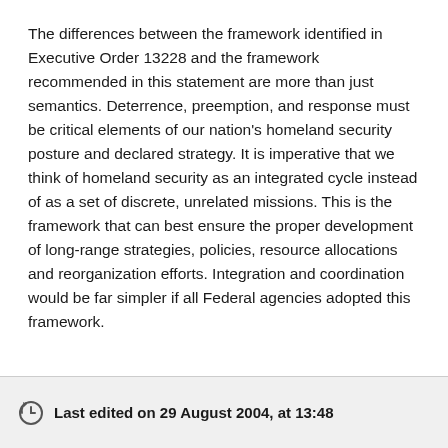The differences between the framework identified in Executive Order 13228 and the framework recommended in this statement are more than just semantics. Deterrence, preemption, and response must be critical elements of our nation's homeland security posture and declared strategy. It is imperative that we think of homeland security as an integrated cycle instead of as a set of discrete, unrelated missions. This is the framework that can best ensure the proper development of long-range strategies, policies, resource allocations and reorganization efforts. Integration and coordination would be far simpler if all Federal agencies adopted this framework.
Last edited on 29 August 2004, at 13:48